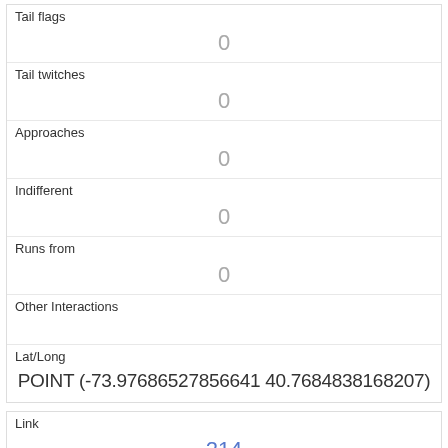| Tail flags | 0 |
| Tail twitches | 0 |
| Approaches | 0 |
| Indifferent | 0 |
| Runs from | 0 |
| Other Interactions |  |
| Lat/Long | POINT (-73.97686527856641 40.7684838168207) |
| Link | 214 |
| rowid | 214 |
| longitude | -73.97705765618444 |